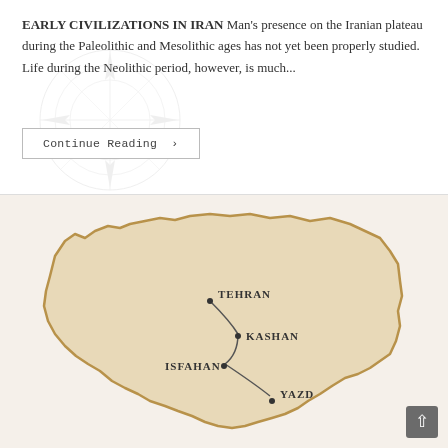EARLY CIVILIZATIONS IN IRAN Man's presence on the Iranian plateau during the Paleolithic and Mesolithic ages has not yet been properly studied. Life during the Neolithic period, however, is much...
Continue Reading ›
[Figure (map): Map of Iran showing cities: Tehran, Kashan, Isfahan, Yazd with route lines connecting them. Beige/cream colored map with dark outline border.]